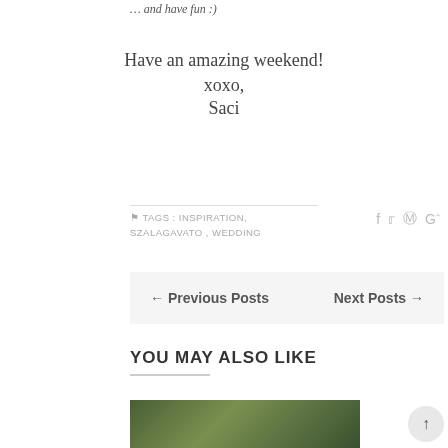… and have fun :)
Have an amazing weekend!
xoxo,
Saci
TAGS : INSPIRATION , SZALAGAVATO , WEDDING
← Previous Posts    Next Posts →
YOU MAY ALSO LIKE
[Figure (photo): Outdoor green trees/garden photo thumbnail]